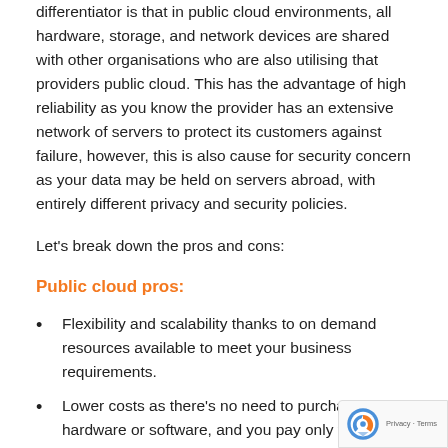differentiator is that in public cloud environments, all hardware, storage, and network devices are shared with other organisations who are also utilising that providers public cloud. This has the advantage of high reliability as you know the provider has an extensive network of servers to protect its customers against failure, however, this is also cause for security concern as your data may be held on servers abroad, with entirely different privacy and security policies.
Let's break down the pros and cons:
Public cloud pros:
Flexibility and scalability thanks to on demand resources available to meet your business requirements.
Lower costs as there's no need to purchase hardware or software, and you pay only for th...